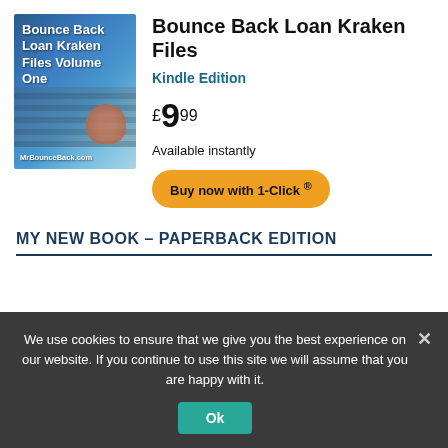[Figure (illustration): Book cover for 'Bounce Back Loan Kraken Files Volume One' by MrBounceBack.com, showing a keyboard and hand with blue background]
Bounce Back Loan Kraken Files
Kindle Edition
£9.99
Available instantly
Buy now with 1-Click ®
MY NEW BOOK – PAPERBACK EDITION
We use cookies to ensure that we give you the best experience on our website. If you continue to use this site we will assume that you are happy with it.
Ok